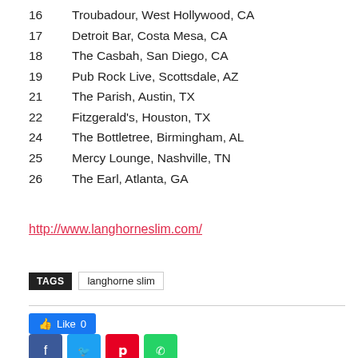16	Troubadour, West Hollywood, CA
17	Detroit Bar, Costa Mesa, CA
18	The Casbah, San Diego, CA
19	Pub Rock Live, Scottsdale, AZ
21	The Parish, Austin, TX
22	Fitzgerald's, Houston, TX
24	The Bottletree, Birmingham, AL
25	Mercy Lounge, Nashville, TN
26	The Earl, Atlanta, GA
http://www.langhorneslim.com/
TAGS   langhorne slim